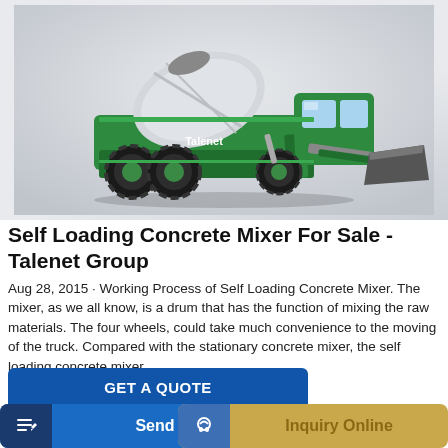[Figure (photo): Green self-loading concrete mixer truck with rotating drum on top and front loading bucket, on light gray background]
Self Loading Concrete Mixer For Sale - Talenet Group
Aug 28, 2015 · Working Process of Self Loading Concrete Mixer. The mixer, as we all know, is a drum that has the function of mixing the raw materials. The four wheels, could take much convenience to the moving of the truck. Compared with the stationary concrete mixer, the self loading concrete mixer …
GET A QUOTE
Send Message
Inquiry Online